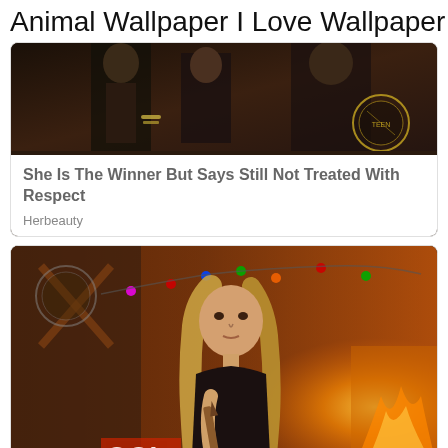Animal Wallpaper I Love Wallpaper
[Figure (photo): Partial view of a group of people, cropped at the top, dark scene]
She Is The Winner But Says Still Not Treated With Respect
Herbeauty
[Figure (photo): Blonde woman holding a wooden stake with Christmas lights and fireplace in background, from a 90s TV show]
6 Amazing Shows From The 90s That Need A Reboot Right Now
Brainberries